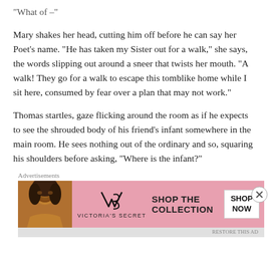“What of –”
Mary shakes her head, cutting him off before he can say her Poet’s name. “He has taken my Sister out for a walk,” she says, the words slipping out around a sneer that twists her mouth. “A walk! They go for a walk to escape this tomblike home while I sit here, consumed by fear over a plan that may not work.”
Thomas startles, gaze flicking around the room as if he expects to see the shrouded body of his friend’s infant somewhere in the main room. He sees nothing out of the ordinary and so, squaring his shoulders before asking, “Where is the infant?”
Advertisements
[Figure (other): Victoria's Secret advertisement banner with a woman model on the left, VS logo in the center, SHOP THE COLLECTION text, and SHOP NOW button on the right]